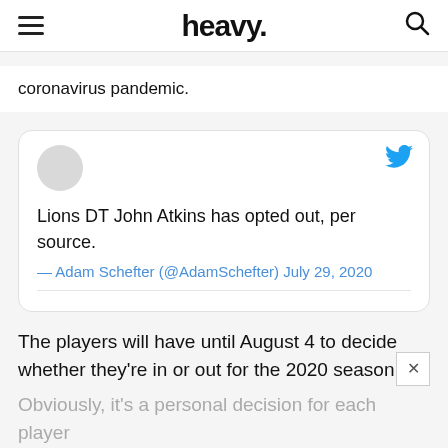heavy.
coronavirus pandemic.
[Figure (screenshot): Embedded tweet card from Adam Schefter (@AdamSchefter) dated July 29, 2020, with Twitter bird logo. Tweet text: 'Lions DT John Atkins has opted out, per source.' Attribution: — Adam Schefter (@AdamSchefter) July 29, 2020]
The players will have until August 4 to decide whether they're in or out for the 2020 season.
Obviously, it's a personal decision for each player